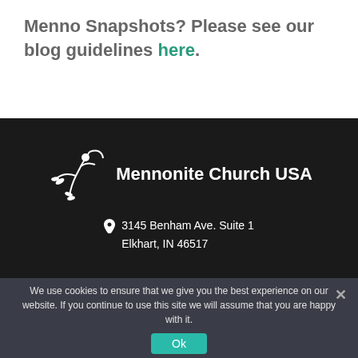Menno Snapshots? Please see our blog guidelines here.
[Figure (logo): Mennonite Church USA logo with white branch/figure illustration and text 'Mennonite Church USA']
3145 Benham Ave. Suite 1 Elkhart, IN 46517
We use cookies to ensure that we give you the best experience on our website. If you continue to use this site we will assume that you are happy with it.